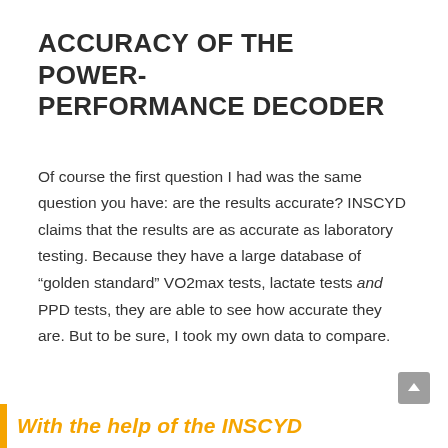ACCURACY OF THE POWER-PERFORMANCE DECODER
Of course the first question I had was the same question you have: are the results accurate? INSCYD claims that the results are as accurate as laboratory testing. Because they have a large database of “golden standard” VO2max tests, lactate tests and PPD tests, they are able to see how accurate they are. But to be sure, I took my own data to compare.
With the help of the INSCYD